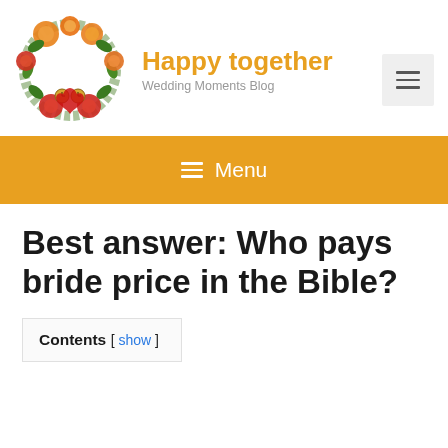[Figure (logo): Circular floral wreath logo with roses and two small clocks at the bottom, in orange, red, and green colors]
Happy together
Wedding Moments Blog
[Figure (other): Hamburger menu toggle button (three horizontal lines) in a light gray box]
≡ Menu
Best answer: Who pays bride price in the Bible?
Contents [ show ]